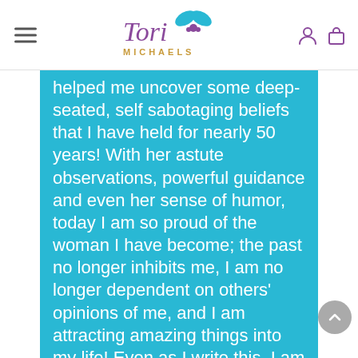Tori Michaels
helped me uncover some deep-seated, self sabotaging beliefs that I have held for nearly 50 years! With her astute observations, powerful guidance and even her sense of humor, today I am so proud of the woman I have become; the past no longer inhibits me, I am no longer dependent on others' opinions of me, and I am attracting amazing things into my life! Even as I write this, I am still utterly amazed by the transformation in me as a result of working with Tori. I am forever in her